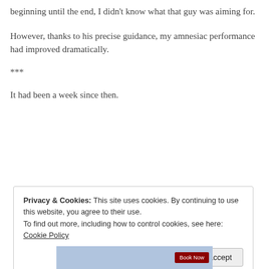beginning until the end, I didn't know what that guy was aiming for.
However, thanks to his precise guidance, my amnesiac performance had improved dramatically.
***
It had been a week since then.
Privacy & Cookies: This site uses cookies. By continuing to use this website, you agree to their use.
To find out more, including how to control cookies, see here: Cookie Policy
Close and accept